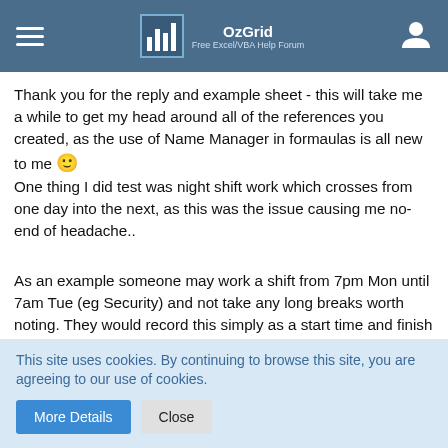OzGrid — Free Excel/VBA Help Forum
Thank you for the reply and example sheet - this will take me a while to get my head around all of the references you created, as the use of Name Manager in formaulas is all new to me 🙂 One thing I did test was night shift work which crosses from one day into the next, as this was the issue causing me no-end of headache..
As an example someone may work a shift from 7pm Mon until 7am Tue (eg Security) and not take any long breaks worth noting. They would record this simply as a start time and finish time under Mon_Sta and Mon_Fin - 19:00, 07:00
So.. start time begins in normal time, shift goes all the way
This site uses cookies. By continuing to browse this site, you are agreeing to our use of cookies.